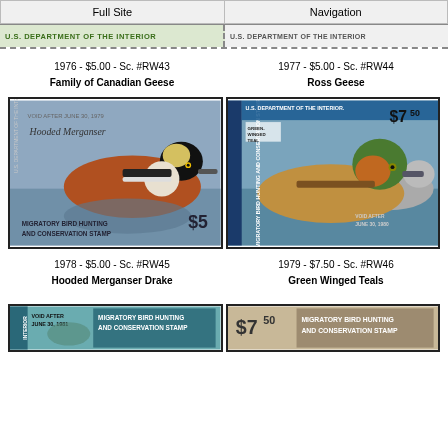Full Site | Navigation
U.S. DEPARTMENT OF THE INTERIOR | U.S. DEPARTMENT OF THE INTERIOR
1976 - $5.00 - Sc. #RW43
Family of Canadian Geese
1977 - $5.00 - Sc. #RW44
Ross Geese
[Figure (photo): 1978 Duck Stamp - Hooded Merganser, $5, Migratory Bird Hunting and Conservation Stamp]
[Figure (photo): 1979 Duck Stamp - Green Winged Teal, $7.50, Migratory Bird Hunting and Conservation Stamp]
1978 - $5.00 - Sc. #RW45
Hooded Merganser Drake
1979 - $7.50 - Sc. #RW46
Green Winged Teals
[Figure (photo): Partial 1980 Duck Stamp, Migratory Bird Hunting and Conservation Stamp]
[Figure (photo): Partial 1979 Duck Stamp $7.50, Migratory Bird Hunting and Conservation Stamp]